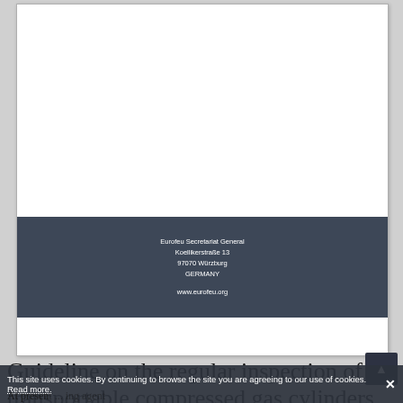[Figure (other): Document cover page with white upper area and dark blue-grey band containing Eurofeu Secretariat General address information including Koellikerstraße 13, 97070 Würzburg, GERMANY and website www.eurofeu.org]
Guideline on the regular inspection of transportable compressed gas cylinders
At present ... ing agent ... [partially visible text cut off by cookie bar]